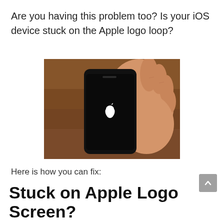Are you having this problem too? Is your iOS device stuck on the Apple logo loop?
[Figure (photo): A hand holding an iPhone with a black screen displaying the white Apple logo, indicating the device is stuck on the Apple logo boot loop screen. Background is a wooden surface.]
Here is how you can fix:
Stuck on Apple Logo Screen?